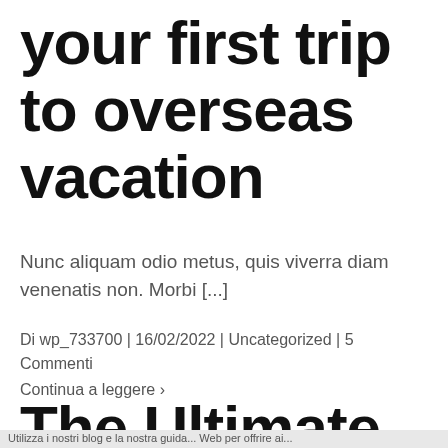your first trip to overseas vacation
Nunc aliquam odio metus, quis viverra diam venenatis non. Morbi [...]
Di wp_733700 | 16/02/2022 | Uncategorized | 5 Commenti
Continua a leggere ›
The Ultimate
Utilizza i nostri blog e la nostra guida... Web per offrire ai...